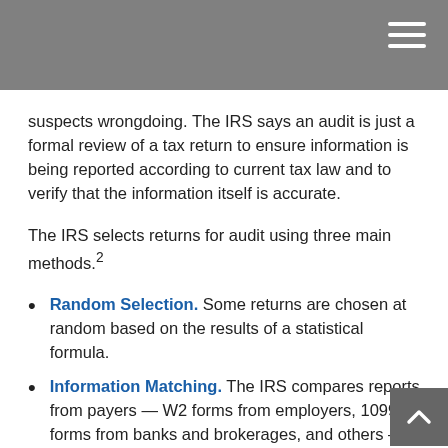suspects wrongdoing. The IRS says an audit is just a formal review of a tax return to ensure information is being reported according to current tax law and to verify that the information itself is accurate.
The IRS selects returns for audit using three main methods.²
Random Selection. Some returns are chosen at random based on the results of a statistical formula.
Information Matching. The IRS compares reports from payers — W2 forms from employers, 1099 forms from banks and brokerages, and others — to the returns filed by taxpayers. Those that don't match may be examined further.
Related Examinations. Some returns are selected for an audit because they involve issues or transactions with other taxpayers whose returns have